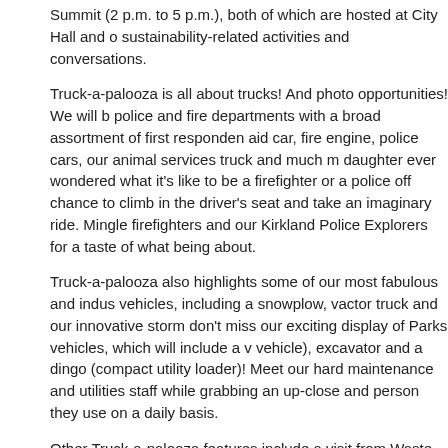Summit (2 p.m. to 5 p.m.), both of which are hosted at City Hall and o sustainability-related activities and conversations.
Truck-a-palooza is all about trucks! And photo opportunities! We will b police and fire departments with a broad assortment of first responde aid car, fire engine, police cars, our animal services truck and much m daughter ever wondered what it's like to be a firefighter or a police off chance to climb in the driver's seat and take an imaginary ride. Mingle firefighters and our Kirkland Police Explorers for a taste of what being about.
Truck-a-palooza also highlights some of our most fabulous and indus vehicles, including a snowplow, vactor truck and our innovative storm don't miss our exciting display of Parks vehicles, which will include a vehicle), excavator and a dingo (compact utility loader)! Meet our hard maintenance and utilities staff while grabbing an up-close and person they use on a daily basis.
Other Truck-a-palooza features include a visit from Waste Manageme check out our accessible King County Metro Community Van, a relativ program sponsored by King County Metro in partnership with the City
Free giveaways, free cocoa and free photos will be available!
Schedule of events: